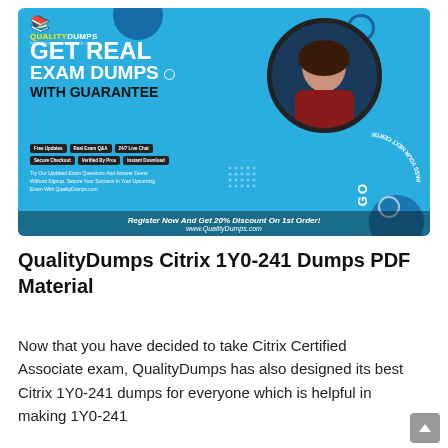[Figure (illustration): QualityDumps promotional banner with blue background, logo top-left, bold headline 'GET REAL EXAM DUMPS WITH GUARANTEE', feature badges, promotional text, circular photo of a student, 'PASS YOUR NEXT CERTIFICATION EXAM IN FIRST GO' arc text, and footer 'Register Now And Get 20% Discount On 1st Order! www.QualityDumps.com']
QualityDumps Citrix 1Y0-241 Dumps PDF Material
Now that you have decided to take Citrix Certified Associate exam, QualityDumps has also designed its best Citrix 1Y0-241 dumps for everyone which is helpful in making 1Y0-241